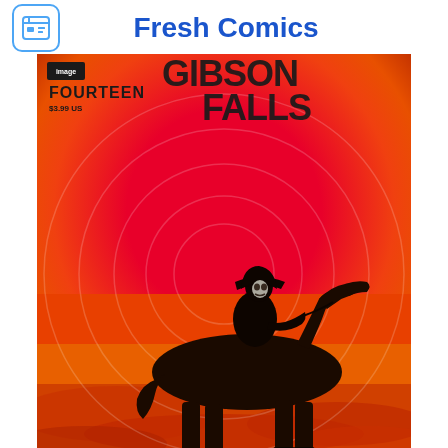Fresh Comics
[Figure (illustration): Comic book cover for 'Gibson Falls' issue fourteen. A dramatic red and orange sunset background with concentric circle target pattern. A silhouetted cowboy riding a horse is centered in the lower half. The top shows the Image Comics logo and the title 'GIBSON FALLS' in large bold letters. Upper left reads 'FOURTEEN' and '$3.99 US'.]